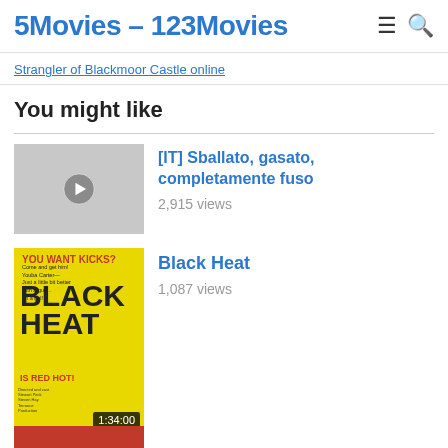5Movies – 123Movies
Strangler of Blackmoor Castle online
You might like
[Figure (screenshot): Gray placeholder thumbnail with play button icon]
[IT] Sballato, gasato, completamente fuso
2,915 views
[Figure (photo): Black Heat movie poster on yellow background with man in action pose]
Black Heat
1,087 views
[Figure (photo): Partial red thumbnail visible at bottom of page]